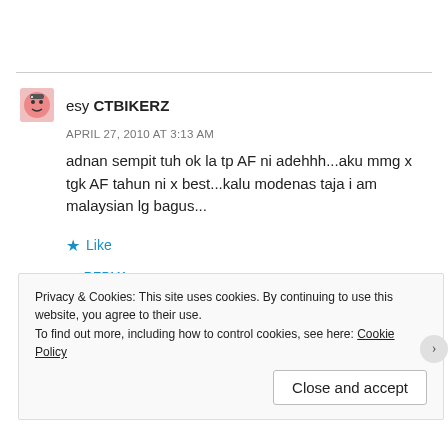esy CTBIKERZ
APRIL 27, 2010 AT 3:13 AM
adnan sempit tuh ok la tp AF ni adehhh...aku mmg x tgk AF tahun ni x best...kalu modenas taja i am malaysian lg bagus...
Like
REPLY
Privacy & Cookies: This site uses cookies. By continuing to use this website, you agree to their use.
To find out more, including how to control cookies, see here: Cookie Policy
Close and accept